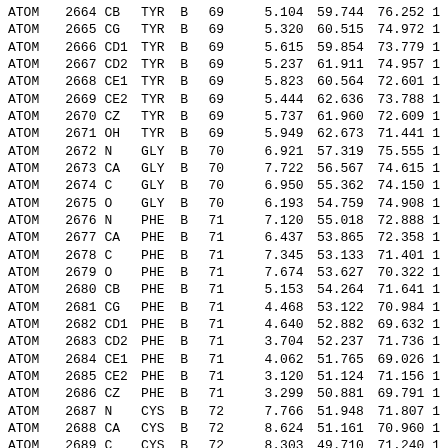| RecType | Serial | Name | ResName | Chain | Seq |  | X | Y | Z | ... |
| --- | --- | --- | --- | --- | --- | --- | --- | --- | --- | --- |
| ATOM | 2664 | CB | TYR | B | 69 |  | 5.104 | 59.744 | 76.252 | 1 |
| ATOM | 2665 | CG | TYR | B | 69 |  | 5.320 | 60.515 | 74.972 | 1 |
| ATOM | 2666 | CD1 | TYR | B | 69 |  | 5.615 | 59.854 | 73.779 | 1 |
| ATOM | 2667 | CD2 | TYR | B | 69 |  | 5.237 | 61.911 | 74.957 | 1 |
| ATOM | 2668 | CE1 | TYR | B | 69 |  | 5.823 | 60.564 | 72.601 | 1 |
| ATOM | 2669 | CE2 | TYR | B | 69 |  | 5.444 | 62.636 | 73.788 | 1 |
| ATOM | 2670 | CZ | TYR | B | 69 |  | 5.737 | 61.960 | 72.609 | 1 |
| ATOM | 2671 | OH | TYR | B | 69 |  | 5.949 | 62.673 | 71.441 | 1 |
| ATOM | 2672 | N | GLY | B | 70 |  | 6.921 | 57.319 | 75.555 | 1 |
| ATOM | 2673 | CA | GLY | B | 70 |  | 7.722 | 56.567 | 74.615 | 1 |
| ATOM | 2674 | C | GLY | B | 70 |  | 6.950 | 55.362 | 74.150 | 1 |
| ATOM | 2675 | O | GLY | B | 70 |  | 6.193 | 54.759 | 74.908 | 1 |
| ATOM | 2676 | N | PHE | B | 71 |  | 7.120 | 55.018 | 72.888 | 1 |
| ATOM | 2677 | CA | PHE | B | 71 |  | 6.437 | 53.865 | 72.358 | 1 |
| ATOM | 2678 | C | PHE | B | 71 |  | 7.345 | 53.133 | 71.401 | 1 |
| ATOM | 2679 | O | PHE | B | 71 |  | 7.674 | 53.627 | 70.322 | 1 |
| ATOM | 2680 | CB | PHE | B | 71 |  | 5.153 | 54.264 | 71.641 | 1 |
| ATOM | 2681 | CG | PHE | B | 71 |  | 4.468 | 53.122 | 70.984 | 1 |
| ATOM | 2682 | CD1 | PHE | B | 71 |  | 4.640 | 52.882 | 69.632 | 1 |
| ATOM | 2683 | CD2 | PHE | B | 71 |  | 3.704 | 52.237 | 71.736 | 1 |
| ATOM | 2684 | CE1 | PHE | B | 71 |  | 4.062 | 51.765 | 69.026 | 1 |
| ATOM | 2685 | CE2 | PHE | B | 71 |  | 3.120 | 51.124 | 71.156 | 1 |
| ATOM | 2686 | CZ | PHE | B | 71 |  | 3.299 | 50.881 | 69.791 | 1 |
| ATOM | 2687 | N | CYS | B | 72 |  | 7.766 | 51.948 | 71.807 | 1 |
| ATOM | 2688 | CA | CYS | B | 72 |  | 8.624 | 51.161 | 70.960 | 1 |
| ATOM | 2689 | C | CYS | B | 72 |  | 8.303 | 49.710 | 71.240 | 1 |
| ATOM | 2690 | O | CYS | B | 72 |  | 7.982 | 49.350 | 72.367 | 1 |
| ATOM | 2691 | CB | CYS | B | 72 |  | 10.086 | 51.470 | 71.269 | 1 |
| ATOM | 2692 | SG | CYS | B | 72 |  | 11.181 | 51.179 | 69.881 | 1 |